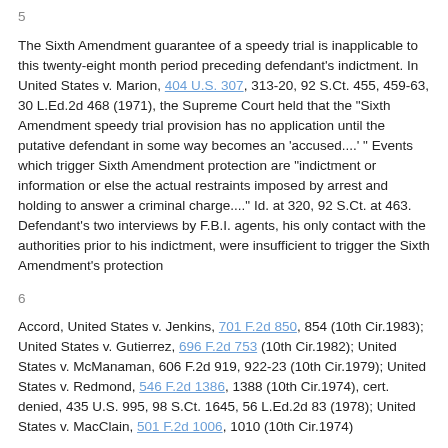5
The Sixth Amendment guarantee of a speedy trial is inapplicable to this twenty-eight month period preceding defendant's indictment. In United States v. Marion, 404 U.S. 307, 313-20, 92 S.Ct. 455, 459-63, 30 L.Ed.2d 468 (1971), the Supreme Court held that the "Sixth Amendment speedy trial provision has no application until the putative defendant in some way becomes an 'accused....' " Events which trigger Sixth Amendment protection are "indictment or information or else the actual restraints imposed by arrest and holding to answer a criminal charge...." Id. at 320, 92 S.Ct. at 463. Defendant's two interviews by F.B.I. agents, his only contact with the authorities prior to his indictment, were insufficient to trigger the Sixth Amendment's protection
6
Accord, United States v. Jenkins, 701 F.2d 850, 854 (10th Cir.1983); United States v. Gutierrez, 696 F.2d 753 (10th Cir.1982); United States v. McManaman, 606 F.2d 919, 922-23 (10th Cir.1979); United States v. Redmond, 546 F.2d 1386, 1388 (10th Cir.1974), cert. denied, 435 U.S. 995, 98 S.Ct. 1645, 56 L.Ed.2d 83 (1978); United States v. MacClain, 501 F.2d 1006, 1010 (10th Cir.1974)